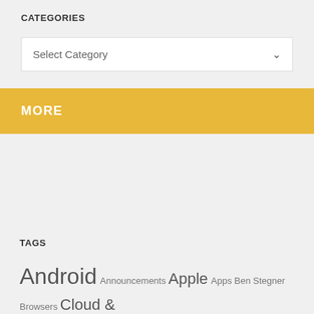CATEGORIES
Select Category
MORE
TAGS
Android Announcements Apple Apps Ben Stegner Browsers Cloud & Services Dann Albright Dave LeClair Entertainment Facebook Games Google Government Hacking Hardware Intel Internet iOS iPad iPhone iPhone and iPad Joel Lee Laptops